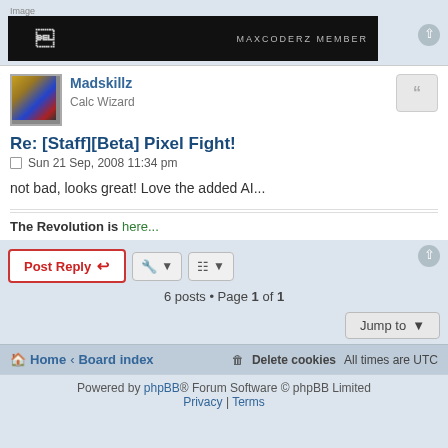[Figure (screenshot): Banner image with dark background labeled 'MAXCODERZ MEMBER']
Madskillz
Calc Wizard
Re: [Staff][Beta] Pixel Fight!
Sun 21 Sep, 2008 11:34 pm
not bad, looks great! Love the added AI...
The Revolution is here...
Post Reply   6 posts • Page 1 of 1
Home · Board index   Delete cookies   All times are UTC
Powered by phpBB® Forum Software © phpBB Limited
Privacy | Terms